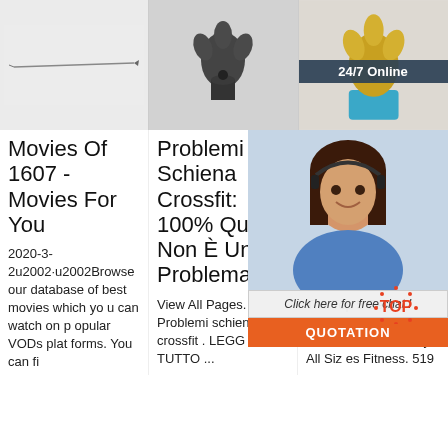[Figure (photo): A thin metal pin or needle tool on white background]
[Figure (photo): A dark metal drill bit or tool head on grey surface]
[Figure (photo): A golden/bronze drill bit on blue base, with customer service overlay showing 24/7 Online and chat button]
Movies Of 1607 - Movies For You
2020-3-2u2002·u2002Browse our database of best movies which you can watch on popular VODs platforms. You can fi
Problemi Schiena Crossfit: 100% Questo Non È Un Problema
View All Pages. Problemi schien a crossfit . LEGG I TUTTO ...
The Best Crossfit® Studio s in Shawnee, K S. Sort by. All Siz es Fitness. 519
The Top 5 Best Crossfit® Studios in Shawnee, K S. Sort by. All Sizes Fitness. 519